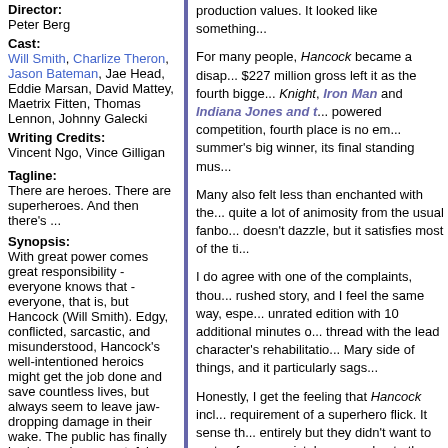Director: Peter Berg
Cast: Will Smith, Charlize Theron, Jason Bateman, Jae Head, Eddie Marsan, David Mattey, Maetrix Fitten, Thomas Lennon, Johnny Galecki
Writing Credits: Vincent Ngo, Vince Gilligan
Tagline: There are heroes. There are superheroes. And then there's ...
Synopsis: With great power comes great responsibility - everyone knows that - everyone, that is, but Hancock (Will Smith). Edgy, conflicted, sarcastic, and misunderstood, Hancock's well-intentioned heroics might get the job done and save countless lives, but always seem to leave jaw-dropping damage in their wake. The public has finally had enough - as grateful as they are to have their local hero, the good citizens of Los Angeles are wondering what they ever did to deserve this guy. Hancock isn't the kind of man who cares what other people think - until the day that he saves the life of PR executive Ray Embrey (Jason Bateman), and the sardonic superhero begins to realize that he may have a vulnerable side after all. Facing that will be Hancock's greatest challenge yet - and a task that may prove impossible as
production values. It looked like something...
For many people, Hancock became a disap... $227 million gross left it as the fourth bigge... Knight, Iron Man and Indiana Jones and t... powered competition, fourth place is no em... summer's big winner, its final standing mus...
Many also felt less than enchanted with the... quite a lot of animosity from the usual fanbo... doesn't dazzle, but it satisfies most of the ti...
I do agree with one of the complaints, thou... rushed story, and I feel the same way, espe... unrated edition with 10 additional minutes o... thread with the lead character's rehabilitatio... Mary side of things, and it particularly sags...
Honestly, I get the feeling that Hancock incl... requirement of a superhero flick. It sense th... entirely but they didn't want to go too far as... mistake, more due to the execution of the s... anywhere; it feels tacked on and vaguely u...
The Mary subplot proves more satisfying, a... don't want to spill too many beans because... relationship becomes a crucial aspect of th... part of the flick doesn't truly disappoint, but...
Despite those issues, Hancock as a whole... of its concept, and a lot of the credit goes to...